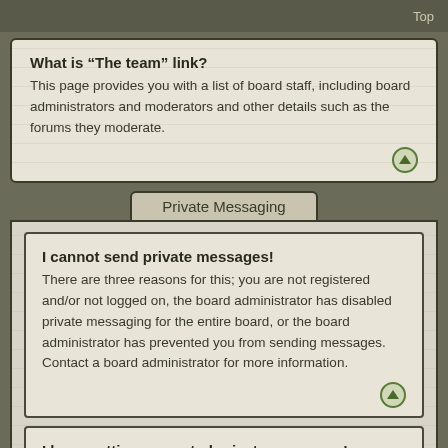Top
What is “The team” link?
This page provides you with a list of board staff, including board administrators and moderators and other details such as the forums they moderate.
Private Messaging
I cannot send private messages!
There are three reasons for this; you are not registered and/or not logged on, the board administrator has disabled private messaging for the entire board, or the board administrator has prevented you from sending messages. Contact a board administrator for more information.
I keep getting unwanted private messages!
You can automatically delete private messages from a user by using message rules within your User Control Panel. If you are receiving abusive private messages from a particular user, report the messages to the moderators; they have the power to prevent a user from sending private messages.